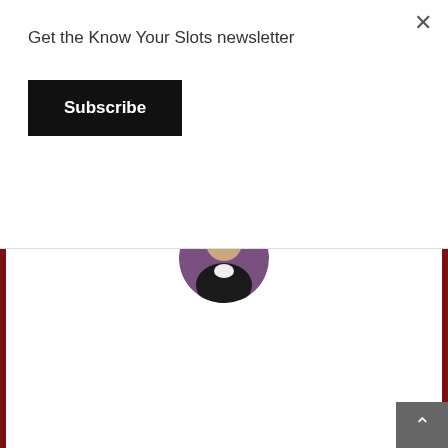Get the Know Your Slots newsletter
Subscribe
[Figure (photo): Circular profile photo of Joshua, a man in a dark shirt with purple lighting in background]
Written by Joshua
A couple of weeks ago I did something I haven't done for some time. I visited a casino, and I didn't use my players card.
I spend a lot of time here on the site sharing why it's so important to use your players card, to the point where I say you should almost always use it.
This trip was one of those ones that underscore why I say almost.